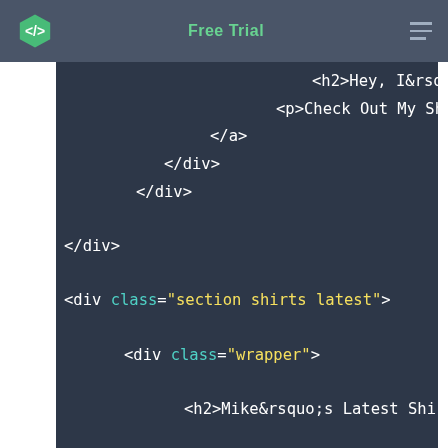Free Trial
[Figure (screenshot): Code editor screenshot showing HTML markup with syntax highlighting. Dark background (#2d3748) with white, teal, and yellow colored tokens. Shows closing tags </a>, </div>, </div>, </div>, then a new div with class='section shirts latest', a nested div class='wrapper', h2 with Mike&rsquo;s Latest Shi..., ul class='products', li with a href='#', img src='img/s...', p View Details, and closing </a>.]